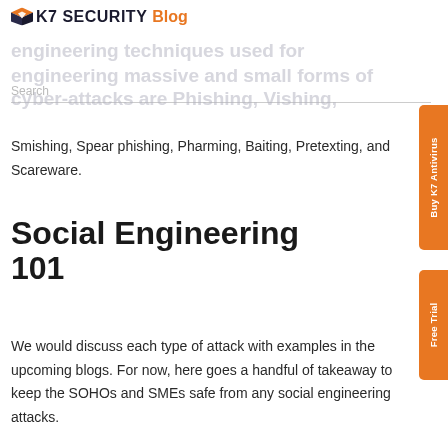K7 SECURITY Blog
engineering techniques used for
engineering massive and small forms of cyber-attacks are Phishing, Vishing,
Smishing, Spear phishing, Pharming, Baiting, Pretexting, and Scareware.
Social Engineering 101
We would discuss each type of attack with examples in the upcoming blogs. For now, here goes a handful of takeaway to keep the SOHOs and SMEs safe from any social engineering attacks.
[Figure (other): Buy K7 Antivirus orange sidebar button on the right]
[Figure (other): Free Trial orange sidebar button on the right]